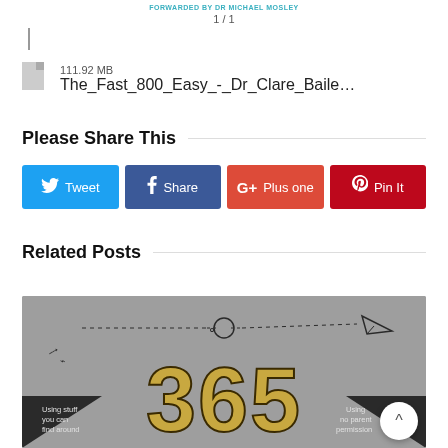FORWARDED BY DR MICHAEL MOSLEY
1 / 1
111.92 MB
The_Fast_800_Easy_-_Dr_Clare_Baile…
Please Share This
[Figure (infographic): Four social sharing buttons: Tweet (blue), Share (dark blue/Facebook), Plus one (orange-red/Google+), Pin It (red/Pinterest)]
Related Posts
[Figure (infographic): Infographic showing '365' in large gold collegiate letters on a grey background with icons of a magnet, lightbulb, paper plane, and text 'Using stuff you can find around' and 'Using no parent permission']